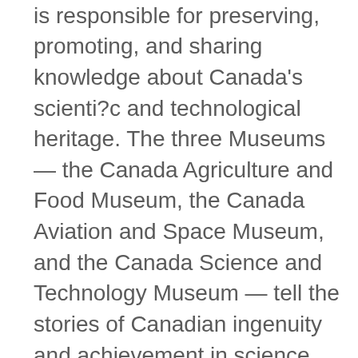Museums Corporation, which is responsible for preserving, promoting, and sharing knowledge about Canada's scientific and technological heritage. The three Museums — the Canada Agriculture and Food Museum, the Canada Aviation and Space Museum, and the Canada Science and Technology Museum — tell the stories of Canadian ingenuity and achievement in science and technology, and demonstrate how these accomplishments have contributed to the transformation of Canada. For more information visit